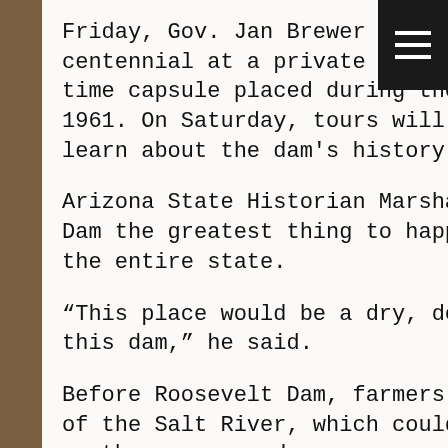Friday, Gov. Jan Brewer will mark Roosevelt Dam's centennial at a private ceremony that includes opening a time capsule placed during the dam's 50th anniversary in 1961. On Saturday, tours will allow members of the public learn about the dam's history and impact.
Arizona State Historian Marshall Trimble calls Roosevelt Dam the greatest thing to happen to central Arizona, if not the entire state.
“This place would be a dry, desert town if it wasn’t for this dam,” he said.
Before Roosevelt Dam, farmers downstream lived at the mercy of the Salt River, which could be dry or flooding depending on the season and